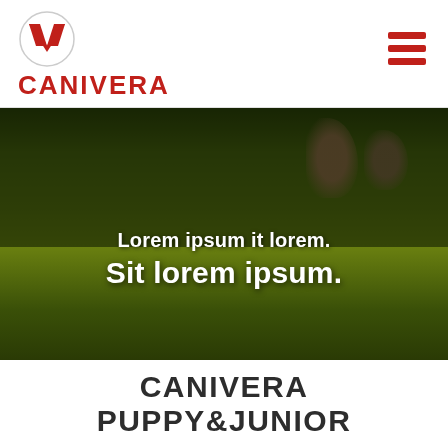[Figure (logo): Canivera brand logo: circular emblem with red V shape and the word CANIVERA in bold red beneath]
[Figure (illustration): Hamburger menu icon: three horizontal red bars stacked vertically]
[Figure (photo): Hero banner image showing a dark green grassy background with blurry dog silhouettes visible in the upper right area. Overlay text reads: Lorem ipsum it lorem. / Sit lorem ipsum.]
CANIVERA PUPPY&JUNIOR